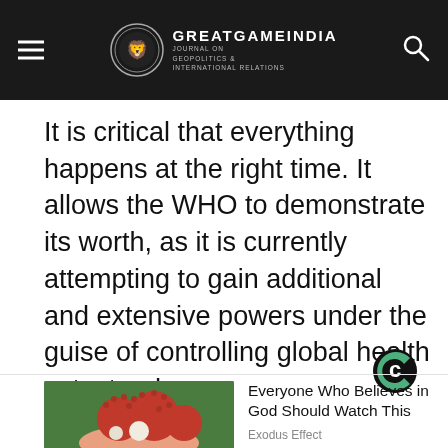GREATGAMEINDIA JOURNAL ON GEOPOLITICS & INTERNATIONAL RELATIONS
It is critical that everything happens at the right time. It allows the WHO to demonstrate its worth, as it is currently attempting to gain additional and extensive powers under the guise of controlling global health catastrophes.
[Figure (logo): Comscore C logo in green and dark circle]
[Figure (photo): Hand holding rambutan fruits, red spiky fruits with white flesh, green background]
Everyone Who Believes in God Should Watch This
Exodus Effect